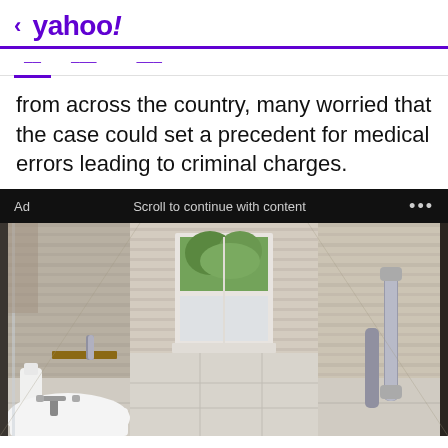< yahoo!
from across the country, many worried that the case could set a precedent for medical errors leading to criminal charges.
Ad  Scroll to continue with content  ...
[Figure (photo): Interior photo of a tiled bathroom with a walk-in shower area, featuring grey/beige striped tiles on walls and floor, a window with frosted lower pane showing greenery outside, a grab bar on the right wall, a towel bar and shelf on the left, a white pedestal sink in the lower left corner with a soap dispenser and faucet, and a glass enclosure partially visible.]